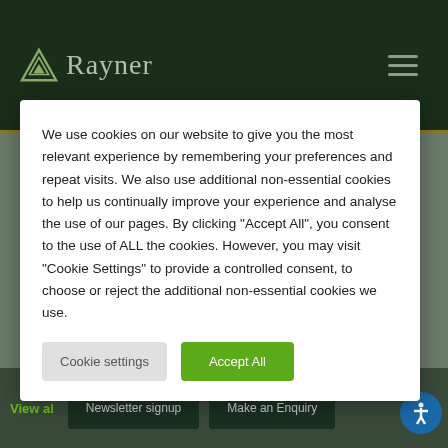[Figure (logo): Rayner company logo with triangle icon on dark green header bar]
We use cookies on our website to give you the most relevant experience by remembering your preferences and repeat visits. We also use additional non-essential cookies to help us continually improve your experience and analyse the use of our pages. By clicking "Accept All", you consent to the use of ALL the cookies. However, you may visit "Cookie Settings" to provide a controlled consent, to choose or reject the additional non-essential cookies we use.
Cookie settings
Accept All
View al
Newsletter signup
Make an Enquiry